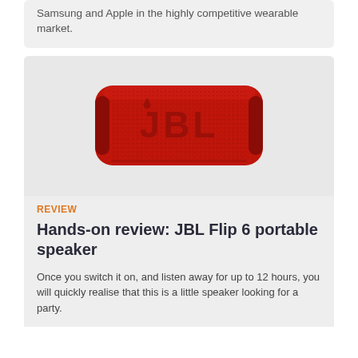Samsung and Apple in the highly competitive wearable market.
[Figure (photo): Red JBL Flip 6 portable Bluetooth speaker with fabric mesh exterior and JBL logo on front]
REVIEW
Hands-on review: JBL Flip 6 portable speaker
Once you switch it on, and listen away for up to 12 hours, you will quickly realise that this is a little speaker looking for a party.